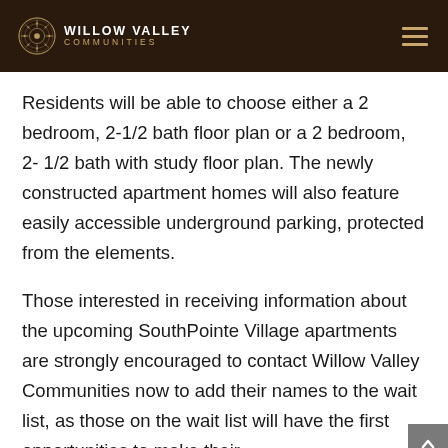WILLOW VALLEY COMMUNITIES
Residents will be able to choose either a 2 bedroom, 2-1/2 bath floor plan or a 2 bedroom, 2- 1/2 bath with study floor plan. The newly constructed apartment homes will also feature easily accessible underground parking, protected from the elements.
Those interested in receiving information about the upcoming SouthPointe Village apartments are strongly encouraged to contact Willow Valley Communities now to add their names to the wait list, as those on the wait list will have the first opportunities to make their